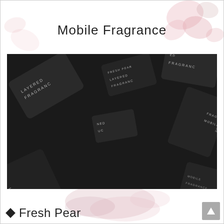Mobile Fragrance
[Figure (photo): Multiple black matte rectangular fragrance cards/tags labeled 'LAYERED FRAGRANCE' with 'MOBILE FRAGRANCE' branding, scattered and overlapping, photographed from above on a dark background. Various scent names visible including 'FRESH PEAR' and 'CHAMPAGNE'.]
Fresh Pear